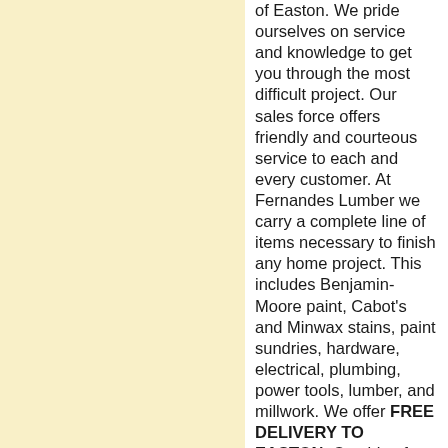of Easton. We pride ourselves on service and knowledge to get you through the most difficult project. Our sales force offers friendly and courteous service to each and every customer. At Fernandes Lumber we carry a complete line of items necessary to finish any home project. This includes Benjamin-Moore paint, Cabot's and Minwax stains, paint sundries, hardware, electrical, plumbing, power tools, lumber, and millwork. We offer FREE DELIVERY TO EASTON. Outside of Easton, our delivery charge is only $25. We carry a full line of cedar, pressure treated, Choice Dek, kiln-dried spruce, pine, fir,oak, maple, and poplar woods for your projects. We sell all